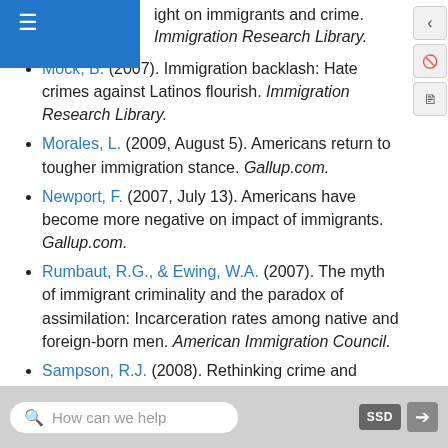anecdotes to evidence: Setting the record right on immigrants and crime. Immigration Research Library.
Mock, B. (2007). Immigration backlash: Hate crimes against Latinos flourish. Immigration Research Library.
Morales, L. (2009, August 5). Americans return to tougher immigration stance. Gallup.com.
Newport, F. (2007, July 13). Americans have become more negative on impact of immigrants. Gallup.com.
Rumbaut, R.G., & Ewing, W.A. (2007). The myth of immigrant criminality and the paradox of assimilation: Incarceration rates among native and foreign-born men. American Immigration Council.
Sampson, R.J. (2008). Rethinking crime and